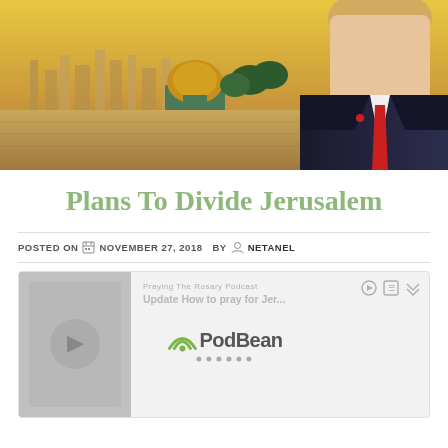[Figure (photo): Composite image showing Jerusalem skyline with Dome of the Rock under a golden-hued sky, overlaid with a man in a dark suit and red tie on the right side]
Plans To Divide Jerusalem
POSTED ON  NOVEMBER 27, 2018   BY  NETANEL
[Figure (other): PodBean embedded podcast player with thumbnail on the left, partial text 'Praying The Rosary Podcast Update How to pray for Jer...' and PodBean logo overlay with wifi icon and dots, playback controls on the right]